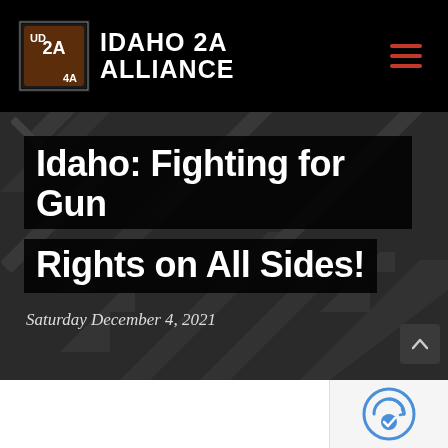IDAHO 2A ALLIANCE
Idaho: Fighting for Gun Rights on All Sides!
Saturday December 4, 2021
[Figure (screenshot): Website screenshot showing Idaho 2A Alliance logo and article header with gun-themed background image]